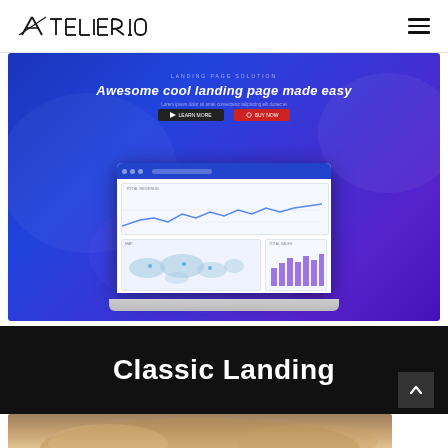[Figure (logo): ATELIER IO logo in bold geometric uppercase font]
[Figure (screenshot): Blue gradient landing page screenshot showing 'Awesome cool landing page made easy' hero text with two buttons and a laptop/dashboard mockup with line chart, world map, and bar chart]
Classic Landing
[Figure (photo): Bottom strip of a nature/outdoor photo showing light-colored foliage or grass]